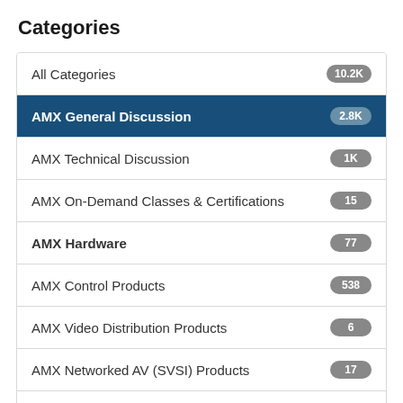Categories
All Categories
AMX General Discussion
AMX Technical Discussion
AMX On-Demand Classes & Certifications
AMX Hardware
AMX Control Products
AMX Video Distribution Products
AMX Networked AV (SVSI) Products
AMX Workspace & Collaboration Products
AMX Software